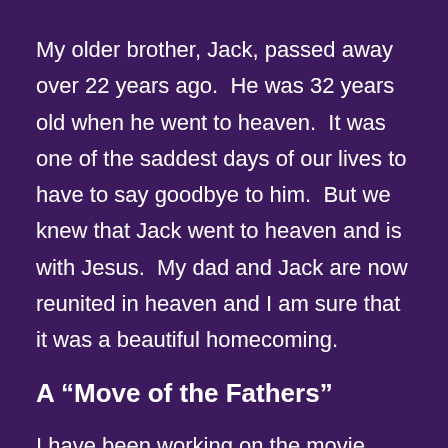My older brother, Jack, passed away over 22 years ago.  He was 32 years old when he went to heaven.  It was one of the saddest days of our lives to have to say goodbye to him.  But we knew that Jack went to heaven and is with Jesus.  My dad and Jack are now reunited in heaven and I am sure that it was a beautiful homecoming.
A “Move of the Fathers”
I have been working on the movie about Lonnie Frisbee for several years now and it